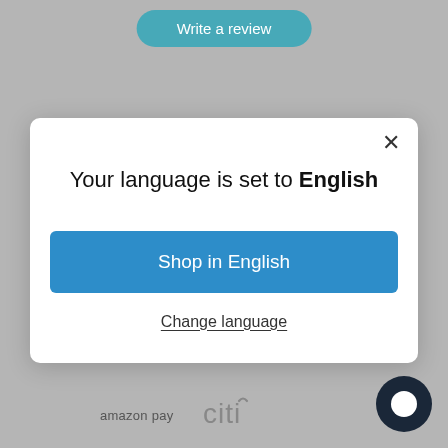[Figure (screenshot): A teal/blue rounded button labeled 'Write a review' on a gray background, partially visible at top]
[Figure (screenshot): A modal dialog on a gray background containing language selection with title 'Your language is set to English', a blue 'Shop in English' button, and a 'Change language' link. An X close button is in the top right corner.]
[Figure (logo): Amazon Pay logo and Citi logo displayed in gray at the bottom of the screen, along with a dark circular chat button on the right]